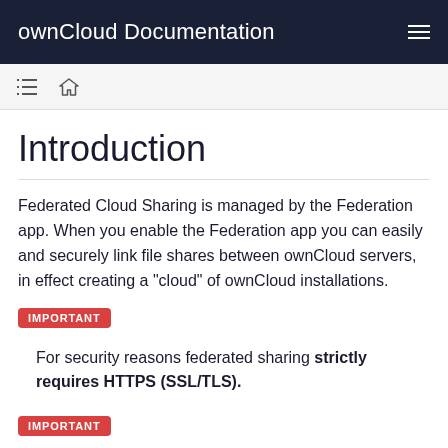ownCloud Documentation
Introduction
Federated Cloud Sharing is managed by the Federation app. When you enable the Federation app you can easily and securely link file shares between ownCloud servers, in effect creating a "cloud" of ownCloud installations.
IMPORTANT
For security reasons federated sharing strictly requires HTTPS (SSL/TLS).
IMPORTANT